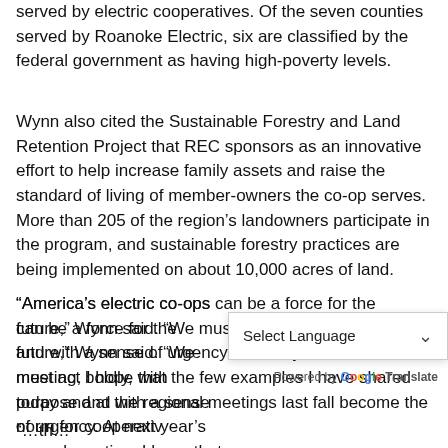served by electric cooperatives. Of the seven counties served by Roanoke Electric, six are classified by the federal government as having high-poverty levels.
Wynn also cited the Sustainable Forestry and Land Retention Project that REC sponsors as an innovative effort to help increase family assets and raise the standard of living of member-owners the co-op serves. More than 205 of the region's landowners participate in the program, and sustainable forestry practices are being implemented on about 10,000 acres of land.
“America’s electric co-ops can be a force for the future,” Wynn said. “We must act boldly, with purpose and with a sense of urgency. At next year’s annual meeting, I hope that the few examples I have shared today and at the regional meetings last fall become the norm for cooperativ…
“…th…